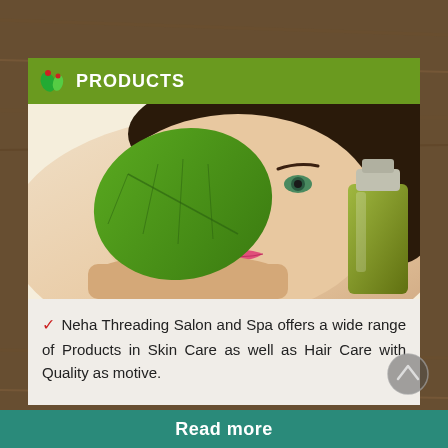PRODUCTS
[Figure (photo): Woman resting chin on arms holding a large green leaf over one eye, with a green cosmetic bottle beside her, representing skin care products]
Neha Threading Salon and Spa offers a wide range of Products in Skin Care as well as Hair Care with Quality as motive.
Read more